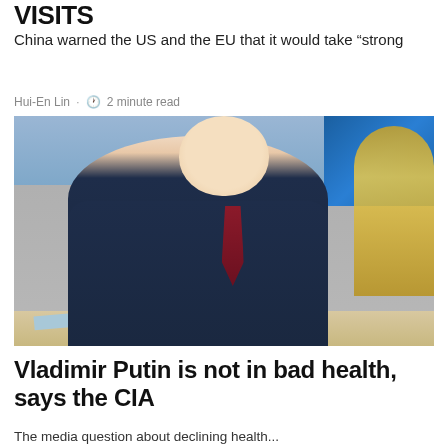VISITS
China warned the US and the EU that it would take "strong
Hui-En Lin · 2 minute read
[Figure (photo): Vladimir Putin seated at a desk in a dark suit and burgundy tie, with a Russian flag in the background and an ornate gold chair visible to the right]
Vladimir Putin is not in bad health, says the CIA
The media question about declining health...